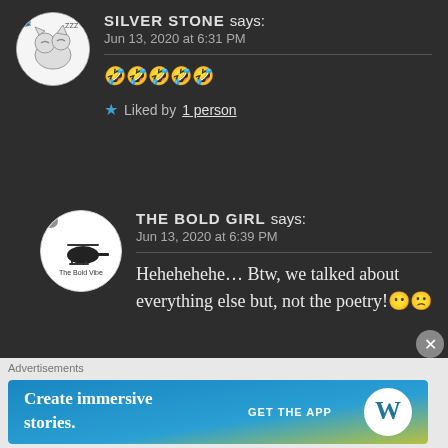SILVER STONE says:
Jun 13, 2020 at 6:31 PM
🤣🤣🤣🤣🤣
★ Liked by 1 person
THE BOLD GIRL says:
Jun 13, 2020 at 6:39 PM
Hehehehehe... Btw, we talked about everything else but, not the poetry!😶🙁
Advertisements
[Figure (screenshot): WordPress advertisement banner: 'Create immersive stories. GET THE APP' with WordPress logo]